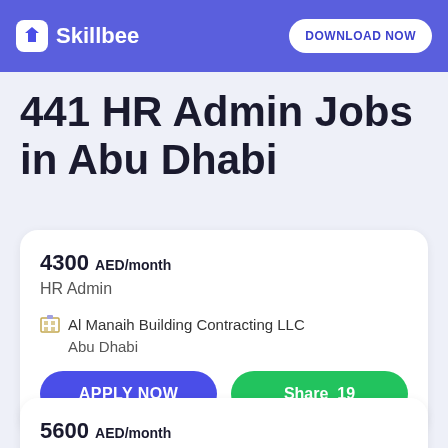Skillbee — DOWNLOAD NOW
441 HR Admin Jobs in Abu Dhabi
4300 AED/month
HR Admin
Al Manaih Building Contracting LLC
Abu Dhabi
APPLY NOW   Share 19
5600 AED/month